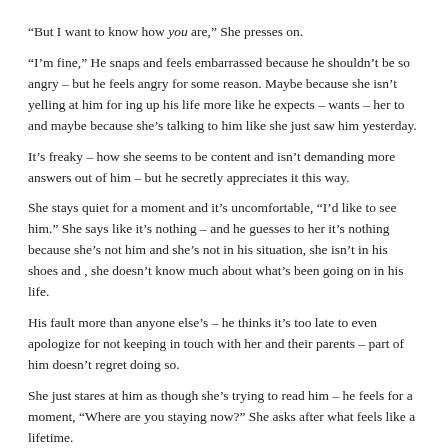“But I want to know how you are,” She presses on.
“I’m fine,” He snaps and feels embarrassed because he shouldn’t be so angry – but he feels angry for some reason. Maybe because she isn’t yelling at him for ing up his life more like he expects – wants – her to and maybe because she’s talking to him like she just saw him yesterday.
It’s freaky – how she seems to be content and isn’t demanding more answers out of him – but he secretly appreciates it this way.
She stays quiet for a moment and it’s uncomfortable, “I’d like to see him.” She says like it’s nothing – and he guesses to her it’s nothing because she’s not him and she’s not in his situation, she isn’t in his shoes and , she doesn’t know much about what’s been going on in his life.
His fault more than anyone else’s – he thinks it’s too late to even apologize for not keeping in touch with her and their parents – part of him doesn’t regret doing so.
She just stares at him as though she’s trying to read him – he feels for a moment, “Where are you staying now?” She asks after what feels like a lifetime.
He shifts uncomfortably – an awkward feeling settles in the pits of his stomach as he thinks of what to say. He feels embarrassed to say the least – he stays silent where he sits and grips he snatched from her in his hand – and he’d much rather not have her know where he stays.